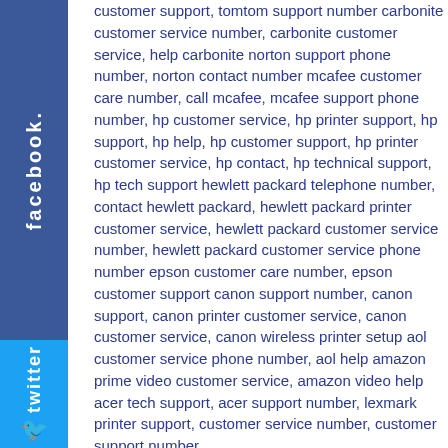customer support, tomtom support number carbonite customer service number, carbonite customer service, help carbonite norton support phone number, norton contact number mcafee customer care number, call mcafee, mcafee support phone number, hp customer service, hp printer support, hp support, hp help, hp customer support, hp printer customer service, hp contact, hp technical support, hp tech support hewlett packard telephone number, contact hewlett packard, hewlett packard printer customer service, hewlett packard customer service number, hewlett packard customer service phone number epson customer care number, epson customer support canon support number, canon support, canon printer customer service, canon customer service, canon wireless printer setup aol customer service phone number, aol help amazon prime video customer service, amazon video help acer tech support, acer support number, lexmark printer support, customer service number, customer support number
[Figure (other): Facebook social media sidebar tab (vertical, blue)]
[Figure (other): Twitter social media sidebar tab (vertical, blue) with bird icon]
callcontact Re: Anexis partner with Esportclothing
kommentiert am  22.07.2020 - 08:45 Uhr
316
linksys router setup, linksys setup, linksys customer service, linksys support, linksys extender setup, setup linksys router, support linksysavast support, brother printer setup, charter customer service phone number,